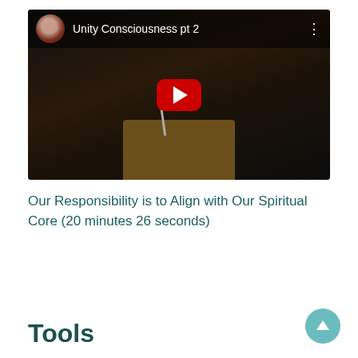[Figure (screenshot): YouTube video thumbnail showing a woman speaking at a podium in a dark setting. The video title is 'Unity Consciousness pt 2' with a channel avatar (woman's photo) in the top left, three-dot menu in top right, and a red YouTube play button in the center.]
Our Responsibility is to Align with Our Spiritual Core (20 minutes 26 seconds)
Tools